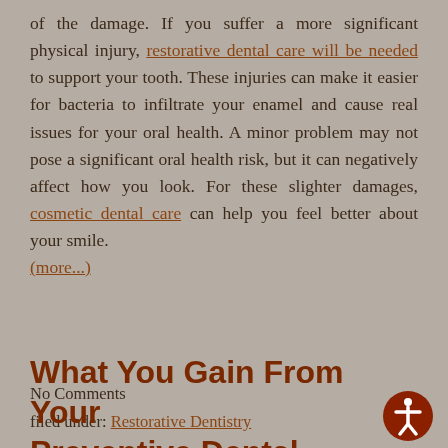of the damage. If you suffer a more significant physical injury, restorative dental care will be needed to support your tooth. These injuries can make it easier for bacteria to infiltrate your enamel and cause real issues for your oral health. A minor problem may not pose a significant oral health risk, but it can negatively affect how you look. For these slighter damages, cosmetic dental care can help you feel better about your smile. (more...)
No Comments
filed under: Restorative Dentistry
What You Gain From Your Preventive Dental